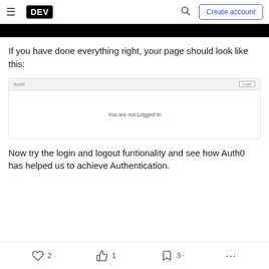DEV — Create account
[Figure (screenshot): Black image bar at the top of article content]
If you have done everything right, your page should look like this:
[Figure (screenshot): Screenshot of an Auth0 app page showing 'You are not Logged In' message with a Login button in the top-right corner]
Now try the login and logout funtionality and see how Auth0 has helped us to achieve Authentication.
2  1  3  ...